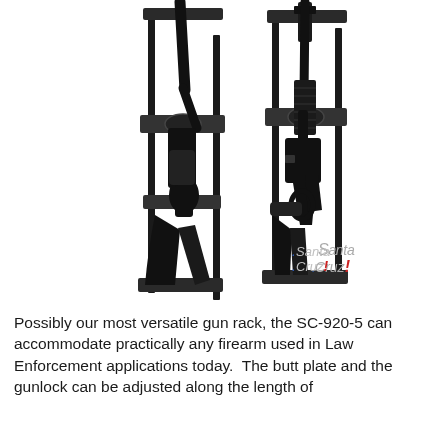[Figure (photo): Two wall-mounted gun racks (SC-920-5) shown side by side on a white background. Left rack holds a shotgun/short-barreled firearm, right rack holds an AR-style rifle with accessories. The Santa Cruz logo appears in the lower-right of the image.]
Possibly our most versatile gun rack, the SC-920-5 can accommodate practically any firearm used in Law Enforcement applications today.  The butt plate and the gunlock can be adjusted along the length of